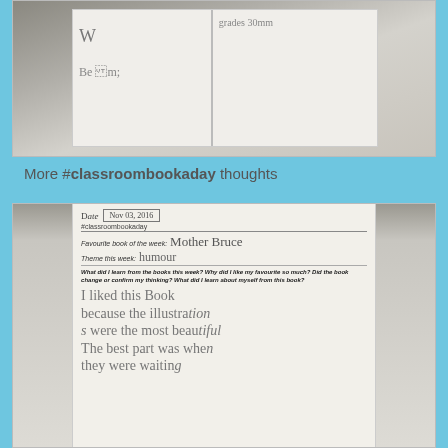[Figure (photo): Photo of an open notebook/journal showing handwritten entries, partially visible at the top of the page. Shows 'Begin' written on the left page and text on the right page.]
More #classroombookaday thoughts
[Figure (photo): Photo of an open student journal/notebook showing: Date row with a date box, #classroombookaday hashtag underlined, 'Favourite book of the week: Mother Bruce', 'Theme this week: humour', a printed italic question about what was learned from books, and handwritten student response beginning 'I liked this Book because the illustrations were the most beautiful The best part was when they were waiting']